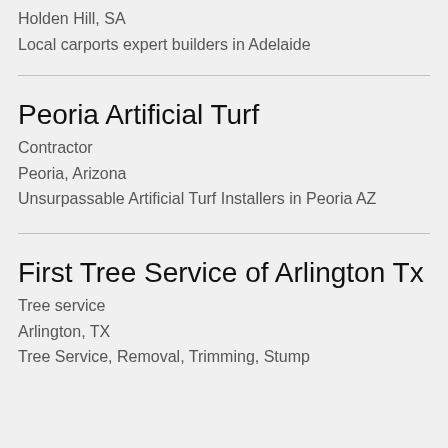Holden Hill, SA
Local carports expert builders in Adelaide
Peoria Artificial Turf
Contractor
Peoria, Arizona
Unsurpassable Artificial Turf Installers in Peoria AZ
First Tree Service of Arlington Tx
Tree service
Arlington, TX
Tree Service, Removal, Trimming, Stump